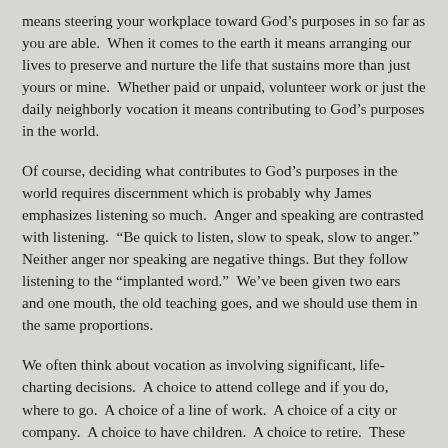means steering your workplace toward God's purposes in so far as you are able. When it comes to the earth it means arranging our lives to preserve and nurture the life that sustains more than just yours or mine. Whether paid or unpaid, volunteer work or just the daily neighborly vocation it means contributing to God's purposes in the world.
Of course, deciding what contributes to God's purposes in the world requires discernment which is probably why James emphasizes listening so much. Anger and speaking are contrasted with listening. “Be quick to listen, slow to speak, slow to anger.” Neither anger nor speaking are negative things. But they follow listening to the “implanted word.” We’ve been given two ears and one mouth, the old teaching goes, and we should use them in the same proportions.
We often think about vocation as involving significant, life-charting decisions. A choice to attend college and if you do, where to go. A choice of a line of work. A choice of a city or company. A choice to have children. A choice to retire. These are certainly big vocational decisions. But James impresses upon me how vocational choices are the constant spiritual work